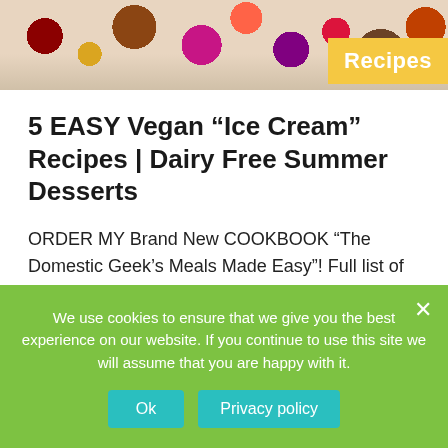[Figure (photo): Header image showing colorful summer desserts, berries, chocolate, and ice cream against a light background. A yellow badge reading 'Recipes' is overlaid in the bottom right corner.]
5 EASY Vegan “Ice Cream” Recipes | Dairy Free Summer Desserts
ORDER MY Brand New COOKBOOK “The Domestic Geek’s Meals Made Easy”! Full list of retailers here: https://inspiredentertainment.com/inspired-eats/cookbook/ 5 Dairy Free Sorbet Recipes: http://bit.ly/2ydnuMC 5 Chocolate Ice Creams: http://bit.ly/2JtwJ0d 5 Fruity Ice Cream Recipes: http://bit.ly/2kTudSj 5 More “Nice Cream” Recipes:
We use cookies to ensure that we give you the best experience on our website. If you continue to use this site we will assume that you are happy with it.
Ok  Privacy policy